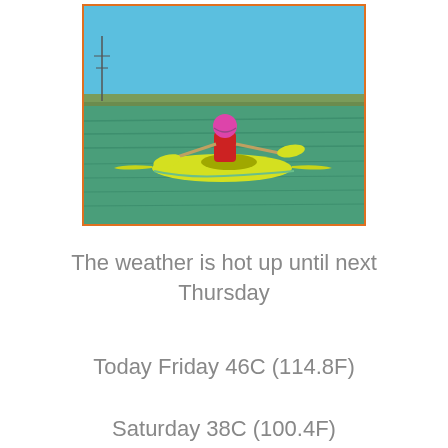[Figure (photo): Person in a yellow kayak on green water, wearing a pink helmet and red life vest, blue sky and distant shoreline in the background.]
The weather is hot up until next Thursday
Today Friday 46C (114.8F)
Saturday 38C (100.4F)